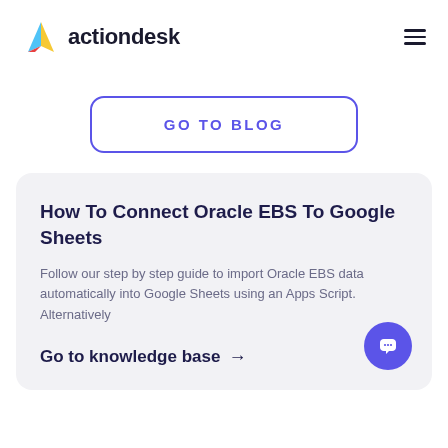[Figure (logo): Actiondesk logo: colorful triangle icon (blue, red, yellow) with the text 'actiondesk' in bold dark font]
GO TO BLOG
How To Connect Oracle EBS To Google Sheets
Follow our step by step guide to import Oracle EBS data automatically into Google Sheets using an Apps Script. Alternatively
Go to knowledge base →